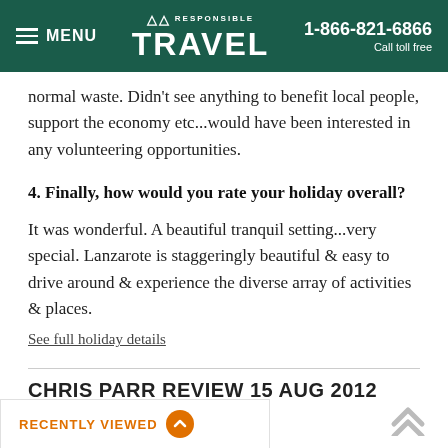MENU | RESPONSIBLE TRAVEL | 1-866-821-6866 Call toll free
normal waste. Didn't see anything to benefit local people, support the economy etc...would have been interested in any volunteering opportunities.
4. Finally, how would you rate your holiday overall?
It was wonderful. A beautiful tranquil setting...very special. Lanzarote is staggeringly beautiful & easy to drive around & experience the diverse array of activities & places.
See full holiday details
CHRIS PARR REVIEW 15 AUG 2012
★ ★ ★ ★ ★
RECENTLY VIEWED